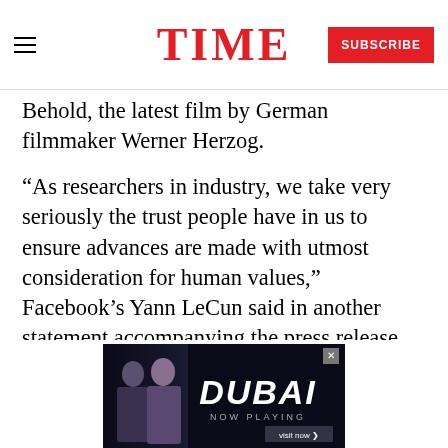TIME — SUBSCRIBE
Behold, the latest film by German filmmaker Werner Herzog.
“As researchers in industry, we take very seriously the trust people have in us to ensure advances are made with utmost consideration for human values,” Facebook’s Yann LeCun said in another statement accompanying the press release. LeCun, the director of Facebook’s AI research and its representative on the new partnership’s board, is a pioneer in the field of deep learning.
[Figure (other): Advertisement for 'Dubai Now Playing' with two figures and a 'visit now' button]